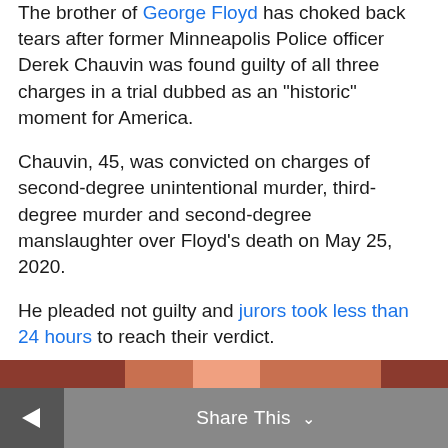The brother of George Floyd has choked back tears after former Minneapolis Police officer Derek Chauvin was found guilty of all three charges in a trial dubbed as an "historic" moment for America.
Chauvin, 45, was convicted on charges of second-degree unintentional murder, third-degree murder and second-degree manslaughter over Floyd's death on May 25, 2020.
He pleaded not guilty and jurors took less than 24 hours to reach their verdict.
LIVE UPDATES: US police officer found guilty of killing George Floyd
[Figure (photo): Partial image bar visible at the bottom of the article content area]
Share This